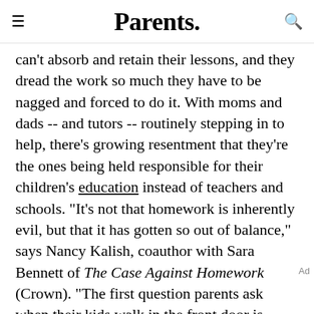Parents.
can't absorb and retain their lessons, and they dread the work so much they have to be nagged and forced to do it. With moms and dads -- and tutors -- routinely stepping in to help, there's growing resentment that they're the ones being held responsible for their children's education instead of teachers and schools. "It's not that homework is inherently evil, but that it has gotten so out of balance," says Nancy Kalish, coauthor with Sara Bennett of The Case Against Homework (Crown). "The first question parents ask when their kids walk in the front door is, 'How much
Ad